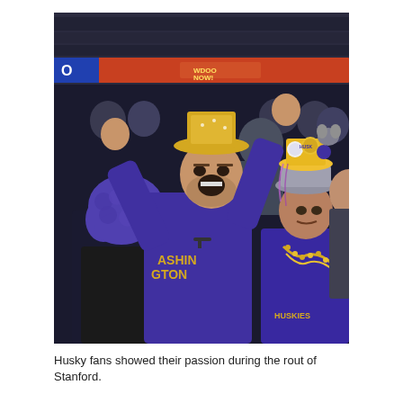[Figure (photo): Washington Huskies fans celebrating enthusiastically in the stands during a football game. The central figure is a man wearing a purple Washington Huskies long-sleeve shirt and a gold sequined hat, cheering with arms raised. To his left is a person with a purple curly wig. To his right is another fan wearing a purple Huskies shirt decorated with buttons and novelty items on a hat, with gold beads around their neck. Stadium crowd and scoreboard visible in the background.]
Husky fans showed their passion during the rout of Stanford.